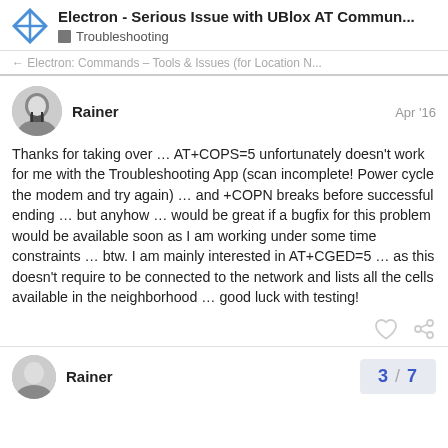Electron - Serious Issue with UBlox AT Commun... | Troubleshooting
← Electron: Commands – Tools & Issues (for Location N...
Rainer  Apr '16
Thanks for taking over … AT+COPS=5 unfortunately doesn't work for me with the Troubleshooting App (scan incomplete! Power cycle the modem and try again) … and +COPN breaks before successful ending … but anyhow … would be great if a bugfix for this problem would be available soon as I am working under some time constraints … btw. I am mainly interested in AT+CGED=5 … as this doesn't require to be connected to the network and lists all the cells available in the neighborhood … good luck with testing!
Rainer  3 / 7